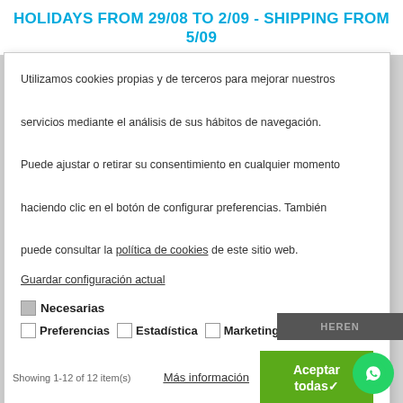HOLIDAYS FROM 29/08 TO 2/09 - SHIPPING FROM 5/09
Utilizamos cookies propias y de terceros para mejorar nuestros servicios mediante el análisis de sus hábitos de navegación.

Puede ajustar o retirar su consentimiento en cualquier momento haciendo clic en el botón de configurar preferencias. También puede consultar la política de cookies de este sitio web.
Guardar configuración actual
☑ Necesarias
☐ Preferencias   ☐ Estadística   ☐ Marketing
Más información
Aceptar todas ✓
Showing 1-12 of 12 item(s)